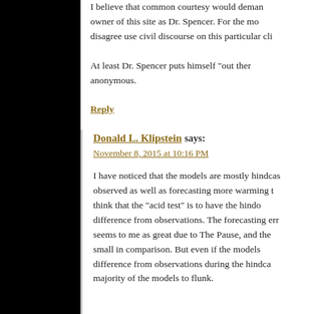I believe that common courtesy would demand the owner of this site as Dr. Spencer. For the most disagree use civil discourse on this particular cli...
At least Dr. Spencer puts himself "out there" anonymous.
Reply
Donald L. Klipstein says:
November 8, 2015 at 10:16 PM
I have noticed that the models are mostly hindcast observed as well as forecasting more warming think that the "acid test" is to have the hindcast difference from observations. The forecasting err seems to me as great due to The Pause, and the small in comparison. But even if the models difference from observations during the hindca majority of the models to flunk.